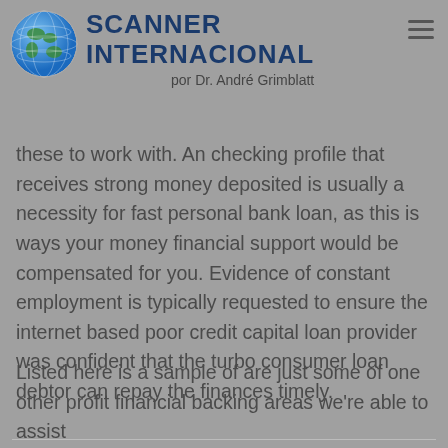SCANNER INTERNACIONAL por Dr. André Grimblatt
financial support delay. A majority of temporary financial institution contains creditors along with other dollars financial support establishments – demand these to work with. An checking profile that receives strong money deposited is usually a necessity for fast personal bank loan, as this is ways your money financial support would be compensated for you. Evidence of constant employment is typically requested to ensure the internet based poor credit capital loan provider was confident that the turbo consumer loan debtor can repay the finances timely.
Listed here is a sample of are just some of one other profit financial backing areas we're able to assist